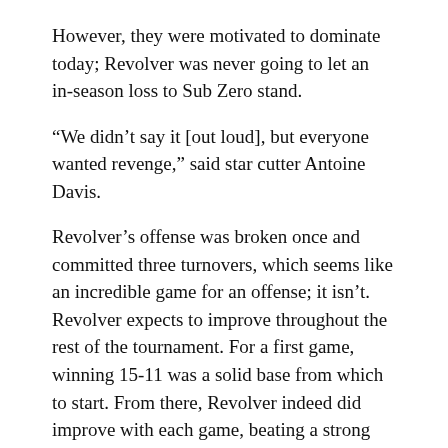However, they were motivated to dominate today; Revolver was never going to let an in-season loss to Sub Zero stand.
“We didn’t say it [out loud], but everyone wanted revenge,” said star cutter Antoine Davis.
Revolver’s offense was broken once and committed three turnovers, which seems like an incredible game for an offense; it isn’t. Revolver expects to improve throughout the rest of the tournament. For a first game, winning 15‑11 was a solid base from which to start. From there, Revolver indeed did improve with each game, beating a strong High Five team 15‑10 and a reeling Madison Club team 15‑6.
Meanwhile, Madison Club had a first day to